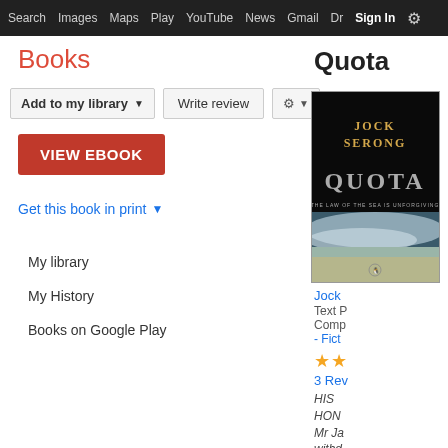Search  Images  Maps  Play  YouTube  News  Gmail  Drive  More  Sign In  ⚙
Books
Add to my library ▼   Write review   ⚙ ▼
VIEW EBOOK
Get this book in print ▼
My library
My History
Books on Google Play
Quota
[Figure (photo): Book cover of 'Quota' by Jock Serong — dark cover with ocean waves, text reads JOCK SERONG QUOTA THE LAW OF THE SEA IS UNFORGIVING]
Jock
Text P
Comp
- Fict
★★
3 Rev
HIS
HON
Mr Ja
withd
More